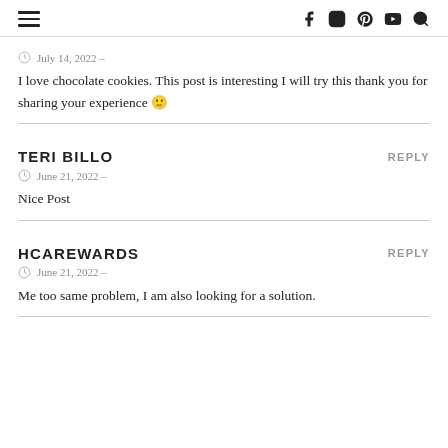Navigation and social icons header
July 14, 2022 –
I love chocolate cookies. This post is interesting I will try this thank you for sharing your experience 🙂
TERI BILLO
June 21, 2022 –
Nice Post
HCAREWARDS
June 21, 2022 –
Me too same problem, I am also looking for a solution.